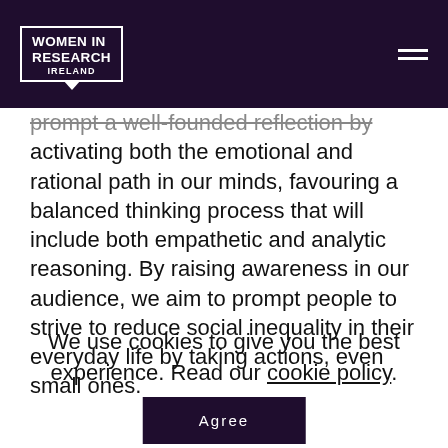Women In Research Ireland
prompt a well-founded reflection by activating both the emotional and rational path in our minds, favouring a balanced thinking process that will include both empathetic and analytic reasoning. By raising awareness in our audience, we aim to prompt people to strive to reduce social inequality in their everyday life by taking actions, even small ones.
We use cookies to give you the best experience. Read our cookie policy.
Agree